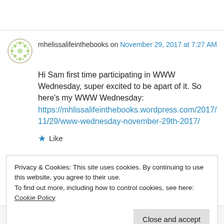mhelissalifeinthebooks on November 29, 2017 at 7:27 AM
Hi Sam first time participating in WWW Wednesday, super excited to be apart of it. So here's my WWW Wednesday: https://mhlissalifeinthebooks.wordpress.com/2017/11/29/www-wednesday-november-29th-2017/
★ Like
Privacy & Cookies: This site uses cookies. By continuing to use this website, you agree to their use.
To find out more, including how to control cookies, see here: Cookie Policy
Close and accept
Welcome! It's always great to have new